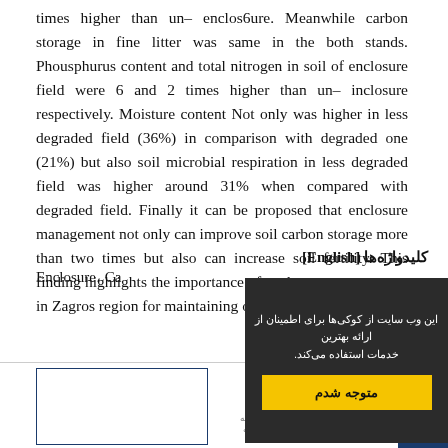times higher than un– enclos6ure. Meanwhile carbon storage in fine litter was same in the both stands. Phousphurus content and total nitrogen in soil of enclosure field were 6 and 2 times higher than un– inclosure respectively. Moisture content Not only was higher in less degraded field (36%) in comparison with degraded one (21%) but also soil microbial respiration in less degraded field was higher around 31% when compared with degraded field. Finally it can be proposed that enclosure management not only can improve soil carbon storage more than two times but also can increase soil fertility. This finding highlights the importance of enclosure management in Zagros region for maintaining of soil functions.
کلیدواژه‌ها [English]
Enclosure، Ca...
این وب سایت از کوکی‌ها برای اطمینان از ارائه بهترین خدمات استفاده می‌کند.
متوجه شدم
صفحه 313–325